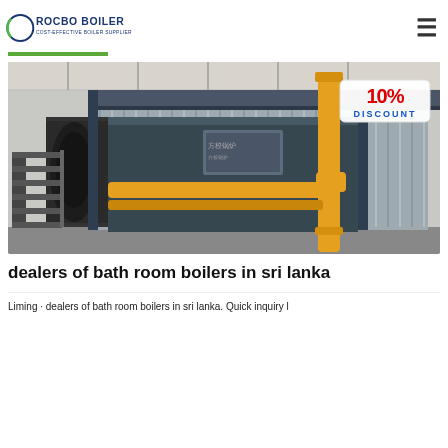ROCBO BOILER - COST-EFFECTIVE BOILER SUPPLIER
[Figure (photo): Industrial gas-fired boiler in a factory setting with yellow pipes and metal cladding. A '10% DISCOUNT' badge is visible in the top right corner.]
dealers of bath room boilers in sri lanka
Liming · dealers of bath room boilers in sri lanka. Quick inquiry l